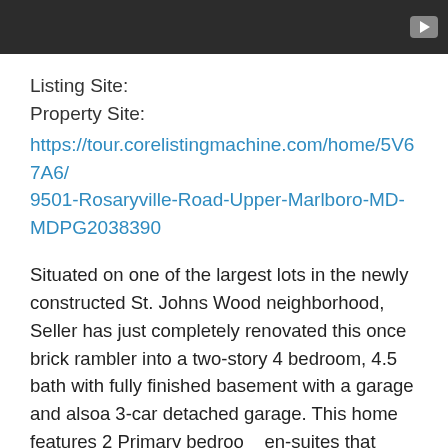[Figure (screenshot): Dark video player bar with play button icon in top right corner]
Listing Site:
Property Site:
https://tour.corelistingmachine.com/home/5V67A6/9501-Rosaryville-Road-Upper-Marlboro-MD-MDPG2038390
Situated on one of the largest lots in the newly constructed St. Johns Wood neighborhood, Seller has just completely renovated this once brick rambler into a two-story 4 bedroom, 4.5 bath with fully finished basement with a garage and alsoa 3-car detached garage. This home features 2 Primary bedroom en-suites that include gorgeous ceramic tile flooring, separate showers and soaking tubs, and double